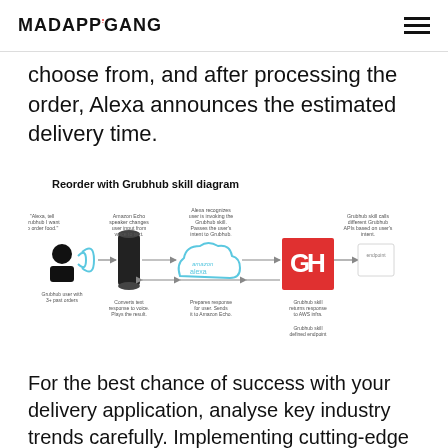MADAPPGANG
choose from, and after processing the order, Alexa announces the estimated delivery time.
Reorder with Grubhub skill diagram
[Figure (flowchart): A flowchart showing the Grubhub skill process: a Grubhub user speaks to Amazon Echo, which converts voice to text, sends to Amazon Alexa cloud, Alexa recognizes the Grubhub skill and passes intent, Grubhub skill calls different Grubhub APIs based on user intent from a defined endpoint. The process also shows response flow back: Grubhub skill returns response to AWS, prepares response for user and sends to Amazon Echo, which converts text response to voice and plays the result.]
For the best chance of success with your delivery application, analyse key industry trends carefully. Implementing cutting-edge digital solutions is